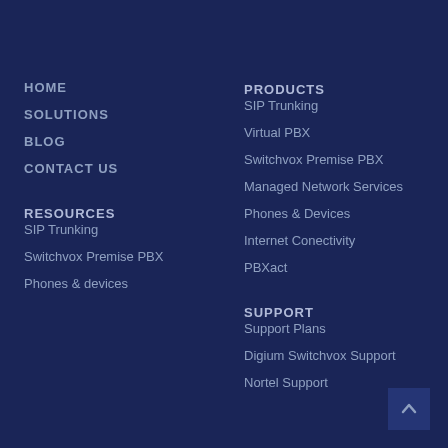HOME
SOLUTIONS
BLOG
CONTACT US
PRODUCTS
SIP Trunking
Virtual PBX
Switchvox Premise PBX
Managed Network Services
Phones & Devices
Internet Conectivity
PBXact
RESOURCES
SIP Trunking
Switchvox Premise PBX
Phones & devices
SUPPORT
Support Plans
Digium Switchvox Support
Nortel Support